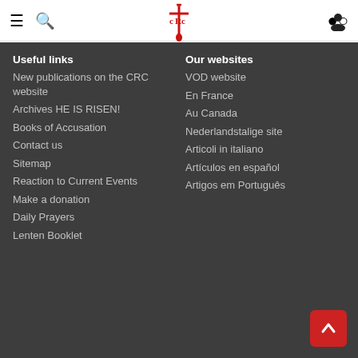CRC website header with hamburger menu, search icon, CRC logo, and user icon
Useful links
New publications on the CRC website
Archives HE IS RISEN!
Books of Accusation
Contact us
Sitemap
Reaction to Current Events
Make a donation
Daily Prayers
Lenten Booklet
Our websites
VOD website
En France
Au Canada
Nederlandstalige site
Articoli in italiano
Artículos en español
Artigos em Português